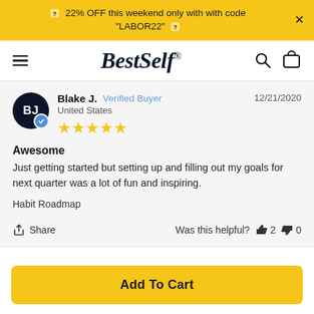🏷 22% OFF this weekend only with with code "LABOR22" 🏷
BestSelf
Blake J.  Verified Buyer  United States  12/21/2020  ★★★★★
Awesome
Just getting started but setting up and filling out my goals for next quarter was a lot of fun and inspiring.
Habit Roadmap
Share  Was this helpful?  👍 2  👎 0
Add To Cart